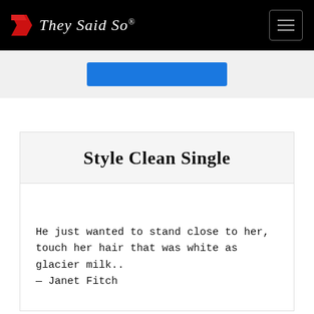They Said So®
[Figure (screenshot): Blue button partially visible at top of content area]
Style Clean Single
He just wanted to stand close to her, touch her hair that was white as glacier milk.. — Janet Fitch